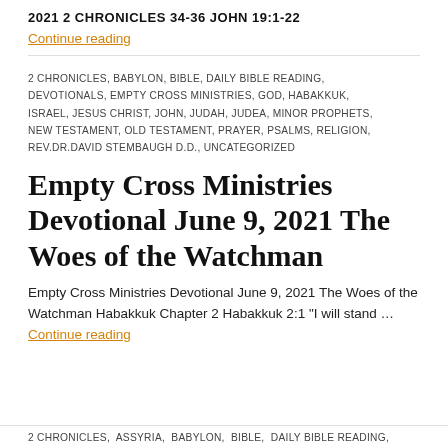2021 2 CHRONICLES 34-36 JOHN 19:1-22
Continue reading
2 CHRONICLES, BABYLON, BIBLE, DAILY BIBLE READING, DEVOTIONALS, EMPTY CROSS MINISTRIES, GOD, HABAKKUK, ISRAEL, JESUS CHRIST, JOHN, JUDAH, JUDEA, MINOR PROPHETS, NEW TESTAMENT, OLD TESTAMENT, PRAYER, PSALMS, RELIGION, REV.DR.DAVID STEMBAUGH D.D., UNCATEGORIZED
Empty Cross Ministries Devotional June 9, 2021 The Woes of the Watchman
Empty Cross Ministries Devotional June 9, 2021 The Woes of the Watchman Habakkuk Chapter 2 Habakkuk 2:1 "I will stand ... Continue reading
2 CHRONICLES, ASSYRIA, BABYLON, BIBLE, DAILY BIBLE READING,